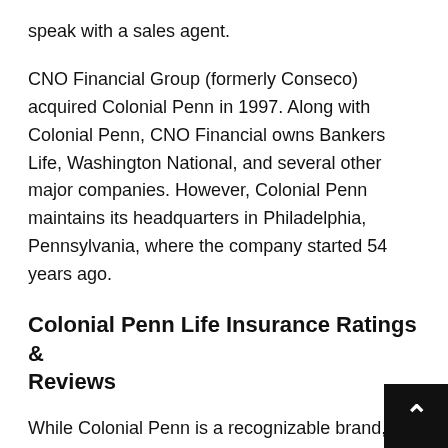speak with a sales agent.
CNO Financial Group (formerly Conseco) acquired Colonial Penn in 1997. Along with Colonial Penn, CNO Financial owns Bankers Life, Washington National, and several other major companies. However, Colonial Penn maintains its headquarters in Philadelphia, Pennsylvania, where the company started 54 years ago.
Colonial Penn Life Insurance Ratings & Reviews
While Colonial Penn is a recognizable brand, you should learn more about its financial strength and customer satisfaction track record. The financial strength of an insurance company is important, as you want to ensure